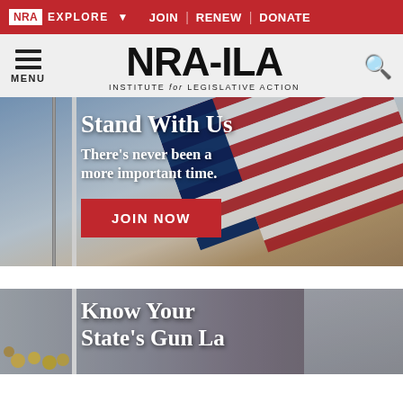NRA EXPLORE ▼   JOIN | RENEW | DONATE
[Figure (logo): NRA-ILA Institute for Legislative Action logo with hamburger menu and search icon]
[Figure (illustration): Hero banner with American flag background, white vertical bar on left, text 'Stand With Us / There's never been a more important time.' and red JOIN NOW button]
[Figure (illustration): Second banner with crowd background, white vertical bar on left, text 'Know Your State's Gun Laws' partially visible]